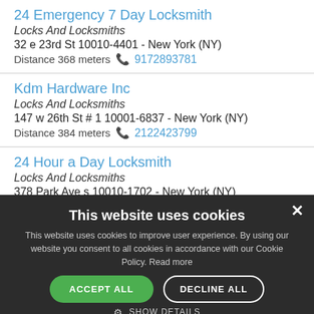24 Emergency 7 Day Locksmith
Locks And Locksmiths
32 e 23rd St 10010-4401 - New York (NY)
Distance 368 meters 9172893781
Kdm Hardware Inc
Locks And Locksmiths
147 w 26th St # 1 10001-6837 - New York (NY)
Distance 384 meters 2122423799
24 Hour a Day Locksmith
Locks And Locksmiths
378 Park Ave s 10010-1702 - New York (NY)
This website uses cookies
This website uses cookies to improve user experience. By using our website you consent to all cookies in accordance with our Cookie Policy. Read more
ACCEPT ALL  DECLINE ALL
SHOW DETAILS
POWERED BY COOKIE-SCRIPT